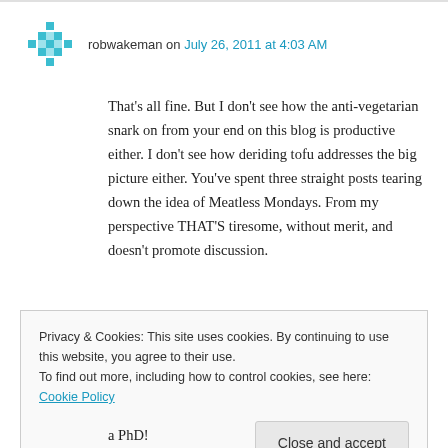robwakeman on July 26, 2011 at 4:03 AM
That’s all fine. But I don’t see how the anti-vegetarian snark on from your end on this blog is productive either. I don’t see how deriding tofu addresses the big picture either. You’ve spent three straight posts tearing down the idea of Meatless Mondays. From my perspective THAT’S tiresome, without merit, and doesn’t promote discussion.
Privacy & Cookies: This site uses cookies. By continuing to use this website, you agree to their use.
To find out more, including how to control cookies, see here: Cookie Policy
a PhD!